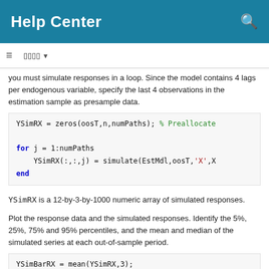Help Center
you must simulate responses in a loop. Since the model contains 4 lags per endogenous variable, specify the last 4 observations in the estimation sample as presample data.
[Figure (screenshot): Code block: YSimRX = zeros(oosT,n,numPaths); % Preallocate

for j = 1:numPaths
    YSimRX(:,:,j) = simulate(EstMdl,oosT,'X',X...
end]
YSimRX is a 12-by-3-by-1000 numeric array of simulated responses.
Plot the response data and the simulated responses. Identify the 5%, 25%, 75% and 95% percentiles, and the mean and median of the simulated series at each out-of-sample period.
[Figure (screenshot): Code block: YSimBarRX = mean(YSimRX,3);
YSimQrtlRX = quantile(YSimRX,[0.05 0.25 0.5 0....]